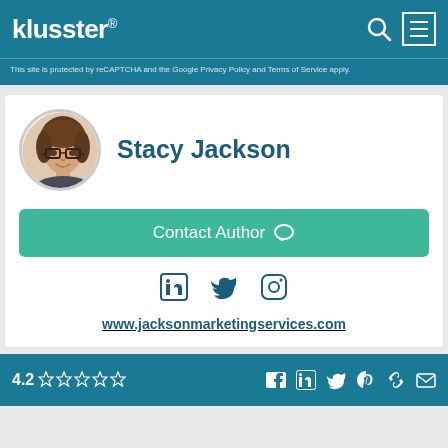klusster®
This site is protected by reCAPTCHA and the Google Privacy Policy and Terms of Service apply.
[Figure (photo): Circular portrait photo of Stacy Jackson, a woman with brown hair and glasses, smiling]
Stacy Jackson
Contact Author
[Figure (infographic): Social media icons: LinkedIn, Twitter, Instagram in teal/dark blue]
www.jacksonmarketingservices.com
4.2 ☆☆☆☆☆